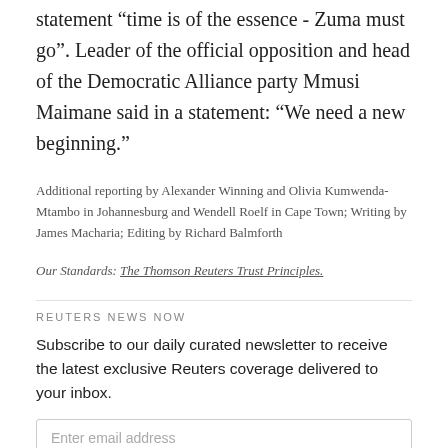statement “time is of the essence - Zuma must go”. Leader of the official opposition and head of the Democratic Alliance party Mmusi Maimane said in a statement: “We need a new beginning.”
Additional reporting by Alexander Winning and Olivia Kumwenda-Mtambo in Johannesburg and Wendell Roelf in Cape Town; Writing by James Macharia; Editing by Richard Balmforth
Our Standards: The Thomson Reuters Trust Principles.
REUTERS NEWS NOW
Subscribe to our daily curated newsletter to receive the latest exclusive Reuters coverage delivered to your inbox.
Enter email address